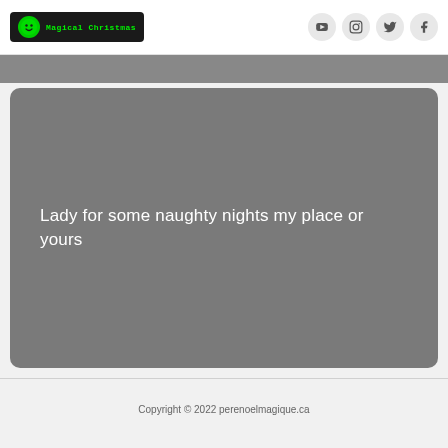[Figure (logo): Magical Christmas logo with green smiley face icon and dark background]
[Figure (other): Social media icons: YouTube, Instagram, Twitter, Facebook in grey circles]
[Figure (other): Grey horizontal banner below header]
Lady for some naughty nights my place or yours
Copyright © 2022 perenoelmagique.ca